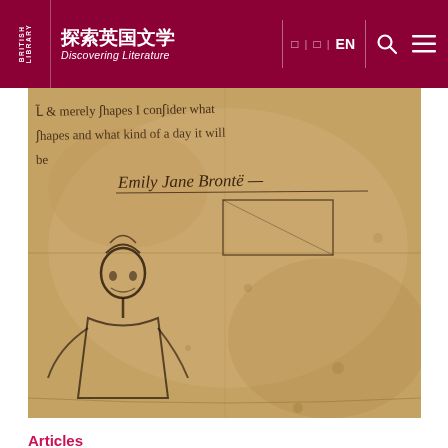探索英国文学 Discovering Literature | EN
[Figure (photo): Close-up photograph of a handwritten manuscript page attributed to Emily Jane Brontë, showing old cursive script and a small sketch of a figure. The text visible includes 'Emily Jane Brontë' and partial phrases about shapes and weather.]
Articles
Charlotte Brontë: mixing the familiar and the fantastic
In her writing as a child and as a young schoolteacher, Charlotte Brontë moved effortlessly between ordinary and imaginary worlds. Professor John Bowen explores how this dual existence made its way into her novel, Jane